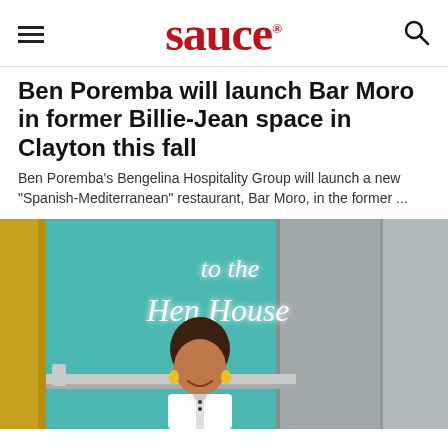sauce
Ben Poremba will launch Bar Moro in former Billie-Jean space in Clayton this fall
Ben Poremba's Bengelina Hospitality Group will launch a new "Spanish-Mediterranean" restaurant, Bar Moro, in the former ...
[Figure (photo): Woman in white chef's coat smiling in a restaurant kitchen with a neon sign reading 'to the Hen House' on a teal wall behind her]